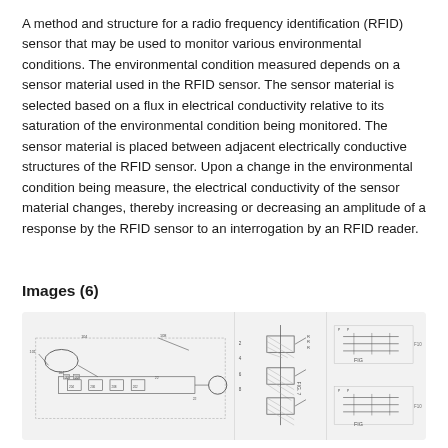A method and structure for a radio frequency identification (RFID) sensor that may be used to monitor various environmental conditions. The environmental condition measured depends on a sensor material used in the RFID sensor. The sensor material is selected based on a flux in electrical conductivity relative to its saturation of the environmental condition being monitored. The sensor material is placed between adjacent electrically conductive structures of the RFID sensor. Upon a change in the environmental condition being measure, the electrical conductivity of the sensor material changes, thereby increasing or decreasing an amplitude of a response by the RFID sensor to an interrogation by an RFID reader.
Images (6)
[Figure (schematic): Three patent engineering diagrams side by side. Left: block diagram of RFID sensor system with antenna (oval), components on a circuit board including multiple labeled blocks, and a circular element on the right. Middle: vertical schematic with hatched elements and labeled lines. Right: two smaller diagrams labeled FIG 1 and FIG 2 showing circuit/component layouts with labels.]